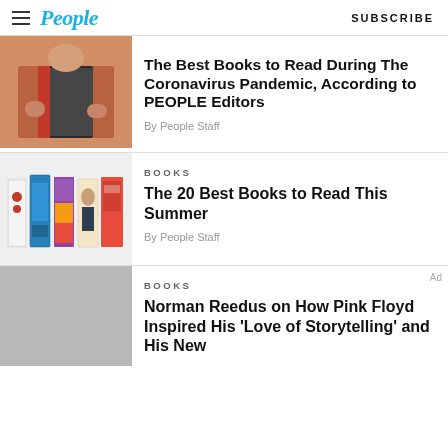People  |  SUBSCRIBE
[Figure (photo): Person in orange dress reading a book with red and black cover]
The Best Books to Read During The Coronavirus Pandemic, According to PEOPLE Editors
By People Staff
[Figure (photo): Row of summer book covers on light grey background]
BOOKS
The 20 Best Books to Read This Summer
By People Staff
[Figure (photo): Grey placeholder image for Norman Reedus article]
BOOKS
Norman Reedus on How Pink Floyd Inspired His 'Love of Storytelling' and His New